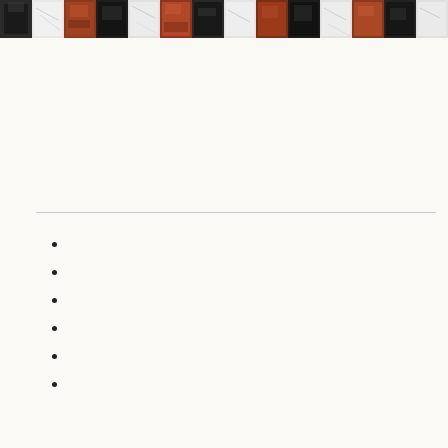[Figure (illustration): Decorative header strip with alternating dark (black, dark brown/rust) and light (white/grey marble) square tile pattern across the top of the page]